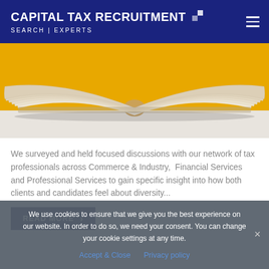CAPITAL TAX RECRUITMENT SEARCH | EXPERTS
[Figure (photo): Open book with yellow/golden background, pages fanned open viewed from side]
We surveyed and held focused discussions with our network of tax professionals across Commerce & Industry,  Financial Services and Professional Services to gain specific insight into how both clients and candidates feel about diversity...
READ MORE →
We use cookies to ensure that we give you the best experience on our website. In order to do so, we need your consent. You can change your cookie settings at any time.
Accept & Close   Privacy policy